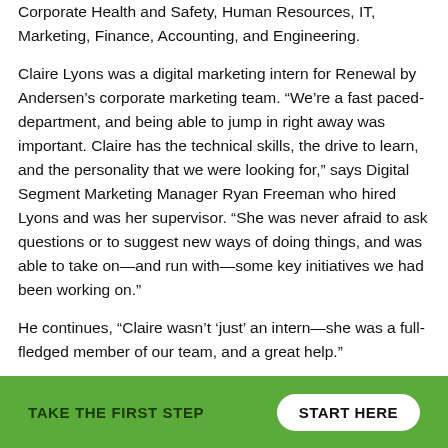Corporate Health and Safety, Human Resources, IT, Marketing, Finance, Accounting, and Engineering.
Claire Lyons was a digital marketing intern for Renewal by Andersen's corporate marketing team. “We’re a fast paced-department, and being able to jump in right away was important. Claire has the technical skills, the drive to learn, and the personality that we were looking for,” says Digital Segment Marketing Manager Ryan Freeman who hired Lyons and was her supervisor. “She was never afraid to ask questions or to suggest new ways of doing things, and was able to take on—and run with—some key initiatives we had been working on.”
He continues, “Claire wasn’t ‘just’ an intern—she was a full-fledged member of our team, and a great help.”
TAKE THE FIRST STEP   START HERE